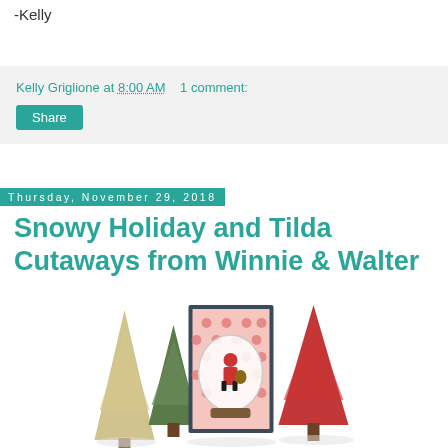-Kelly
Kelly Griglione at 8:00 AM   1 comment:
Share
Thursday, November 29, 2018
Snowy Holiday and Tilda Cutaways from Winnie & Walter
[Figure (photo): Christmas card with Santa inside a snow globe, surrounded by decorative Christmas trees (gold/silver and red bottle brush trees), displayed on a white background. The card has a red polka dot background with a navy blue border.]